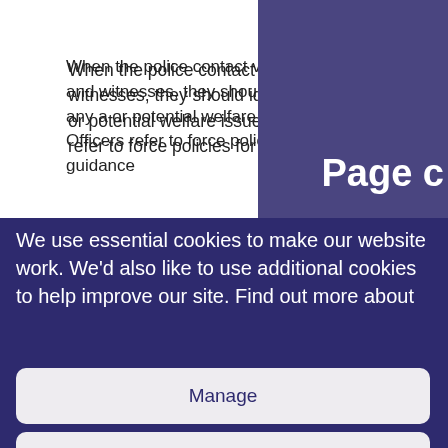When the police contact victims and witnesses, they should identify any a or potential welfare issues. Officers refer to force policies for guidance
Page c
We use essential cookies to make our website work. We'd also like to use additional cookies to help improve our site. Find out more about
Manage
Decline non-essential
Accept all